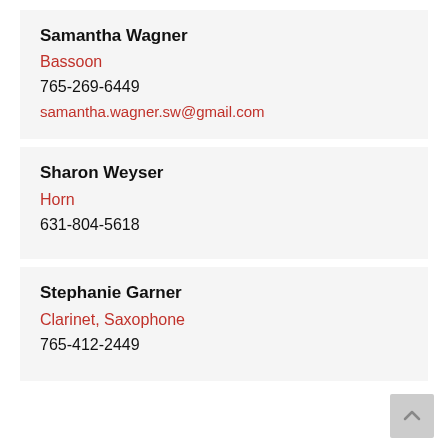Samantha Wagner
Bassoon
765-269-6449
samantha.wagner.sw@gmail.com
Sharon Weyser
Horn
631-804-5618
Stephanie Garner
Clarinet, Saxophone
765-412-2449